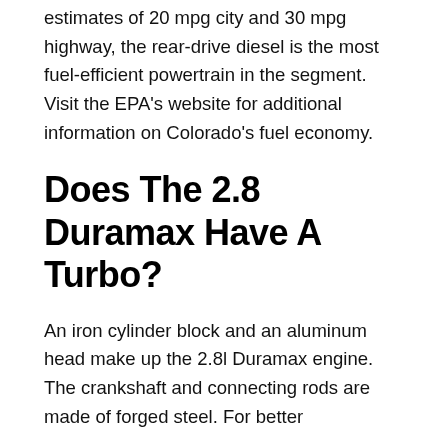estimates of 20 mpg city and 30 mpg highway, the rear-drive diesel is the most fuel-efficient powertrain in the segment. Visit the EPA's website for additional information on Colorado's fuel economy.
Does The 2.8 Duramax Have A Turbo?
An iron cylinder block and an aluminum head make up the 2.8l Duramax engine. The crankshaft and connecting rods are made of forged steel. For better